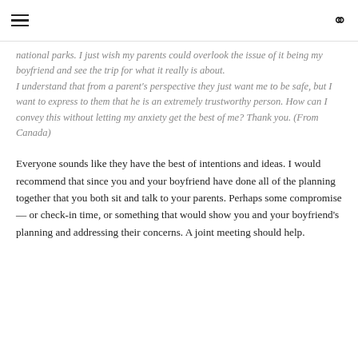≡  🔍
national parks. I just wish my parents could overlook the issue of it being my boyfriend and see the trip for what it really is about.
I understand that from a parent's perspective they just want me to be safe, but I want to express to them that he is an extremely trustworthy person. How can I convey this without letting my anxiety get the best of me? Thank you. (From Canada)
Everyone sounds like they have the best of intentions and ideas. I would recommend that since you and your boyfriend have done all of the planning together that you both sit and talk to your parents. Perhaps some compromise — or check-in time, or something that would show you and your boyfriend's planning and addressing their concerns. A joint meeting should help.